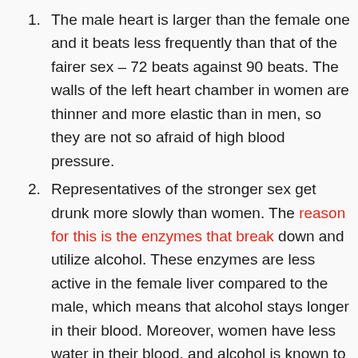The male heart is larger than the female one and it beats less frequently than that of the fairer sex – 72 beats against 90 beats. The walls of the left heart chamber in women are thinner and more elastic than in men, so they are not so afraid of high blood pressure.
Representatives of the stronger sex get drunk more slowly than women. The reason for this is the enzymes that break down and utilize alcohol. These enzymes are less active in the female liver compared to the male, which means that alcohol stays longer in their blood. Moreover, women have less water in their blood, and alcohol is known to be localized in the fluid. Conclusion: even with the same weight and amount of alcohol